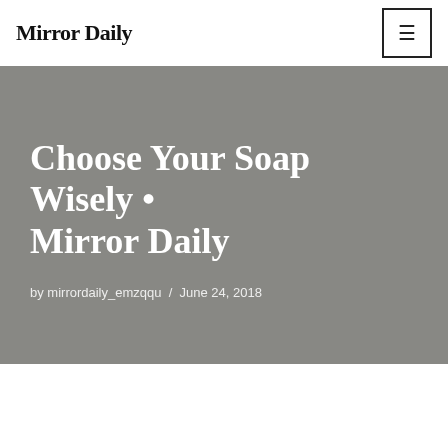Mirror Daily
Choose Your Soap Wisely • Mirror Daily
by mirrordaily_emzqqu / June 24, 2018